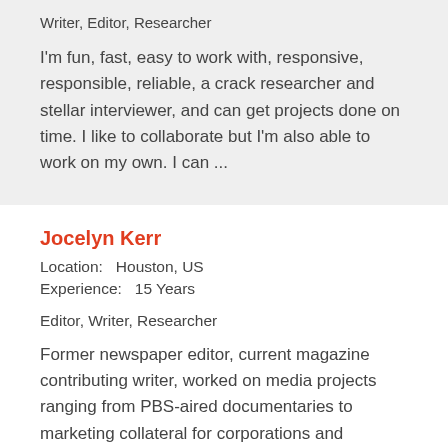Writer, Editor, Researcher
I'm fun, fast, easy to work with, responsive, responsible, reliable, a crack researcher and stellar interviewer, and can get projects done on time. I like to collaborate but I'm also able to work on my own. I can ...
Jocelyn Kerr
Location:   Houston, US
Experience:   15 Years
Editor, Writer, Researcher
Former newspaper editor, current magazine contributing writer, worked on media projects ranging from PBS-aired documentaries to marketing collateral for corporations and nonprofit organizations. Specialties include food